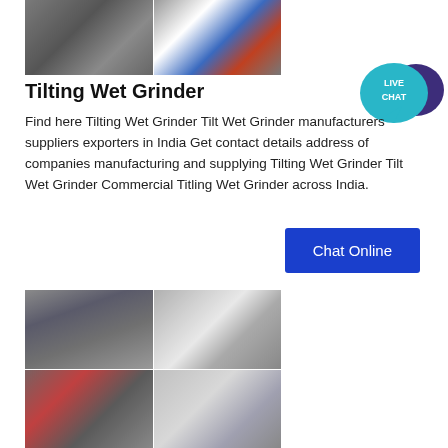[Figure (photo): Two industrial machinery photos side by side showing tilting wet grinder equipment]
Tilting Wet Grinder
Find here Tilting Wet Grinder Tilt Wet Grinder manufacturers suppliers exporters in India Get contact details address of companies manufacturing and supplying Tilting Wet Grinder Tilt Wet Grinder Commercial Titling Wet Grinder across India.
[Figure (illustration): Live Chat widget with speech bubble icon]
[Figure (other): Chat Online button]
[Figure (photo): Four industrial grinding mill photos in a 2x2 grid showing large industrial machinery]